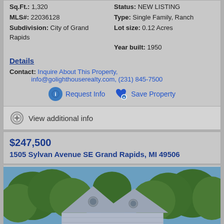Sq.Ft.: 1,320  Status: NEW LISTING  MLS#: 22036128  Type: Single Family, Ranch  Subdivision: City of Grand Rapids  Lot size: 0.12 Acres  Year built: 1950
Details
Contact: Inquire About This Property, info@golighthouserealty.com, (231) 845-7500
Request Info  Save Property
View additional info
$247,500
1505 Sylvan Avenue SE Grand Rapids, MI 49506
[Figure (photo): Exterior photo of a house with blue/grey siding and triangular rooflines surrounded by green trees]